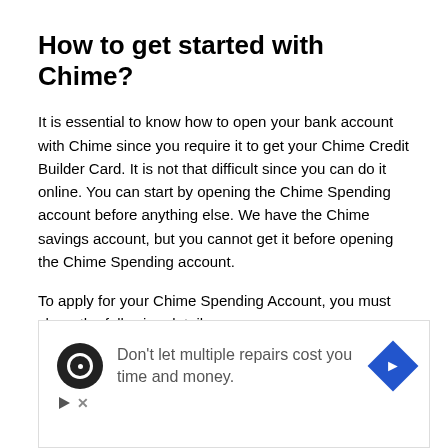How to get started with Chime?
It is essential to know how to open your bank account with Chime since you require it to get your Chime Credit Builder Card. It is not that difficult since you can do it online. You can start by opening the Chime Spending account before anything else. We have the Chime savings account, but you cannot get it before opening the Chime Spending account.
To apply for your Chime Spending Account, you must share the following details:
First and last name
[Figure (other): Advertisement banner: circular icon with ring logo, text 'Don't let multiple repairs cost you time and money.', blue diamond arrow icon, play and close buttons at bottom left.]